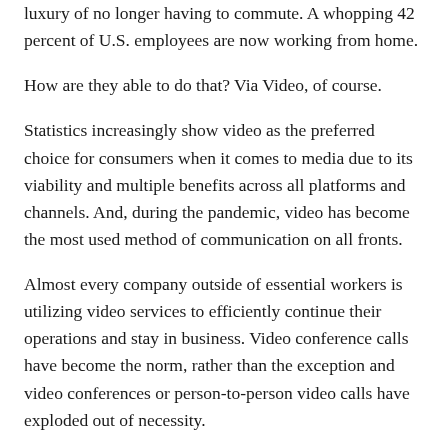luxury of no longer having to commute. A whopping 42 percent of U.S. employees are now working from home.
How are they able to do that? Via Video, of course.
Statistics increasingly show video as the preferred choice for consumers when it comes to media due to its viability and multiple benefits across all platforms and channels. And, during the pandemic, video has become the most used method of communication on all fronts.
Almost every company outside of essential workers is utilizing video services to efficiently continue their operations and stay in business. Video conference calls have become the norm, rather than the exception and video conferences or person-to-person video calls have exploded out of necessity.
According to Forbes, this digital pivot may become permanent – in all walks of life. Many students are having to do in-home learning and the only way some employees can continue professional